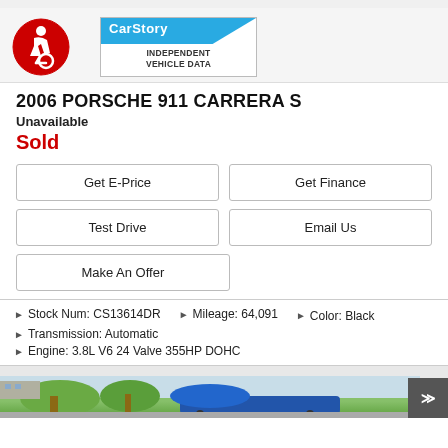[Figure (logo): CarStory Independent Vehicle Data logo with blue diagonal banner]
2006 PORSCHE 911 CARRERA S
Unavailable
Sold
Get E-Price
Get Finance
Test Drive
Email Us
Make An Offer
Stock Num: CS13614DR  Mileage: 64,091  Color: Black
Transmission: Automatic
Engine: 3.8L V6 24 Valve 355HP DOHC
[Figure (photo): Partial view of a blue Porsche 911 Carrera S parked outdoors with palm trees and buildings in background]